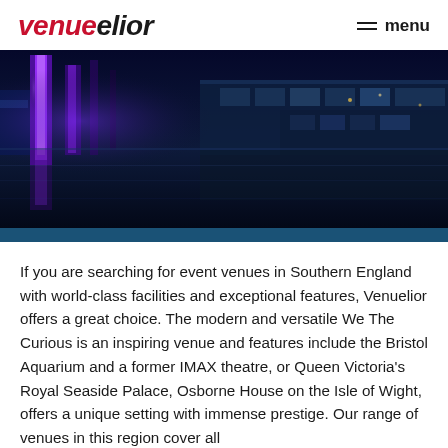venuelior  menu
[Figure (photo): Night-time exterior photo of a modern building with purple/blue illuminated columns and glass facades reflecting on wet pavement]
If you are searching for event venues in Southern England with world-class facilities and exceptional features, Venuelior offers a great choice. The modern and versatile We The Curious is an inspiring venue and features include the Bristol Aquarium and a former IMAX theatre, or Queen Victoria's Royal Seaside Palace, Osborne House on the Isle of Wight, offers a unique setting with immense prestige. Our range of venues in this region cover all